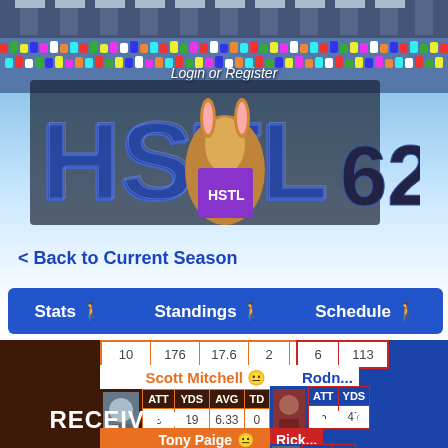[Figure (screenshot): HSTL fantasy football game website banner with stadium crowd background, animated mascot rabbit character, and HSTL 62 logo text]
Login or Register
< Back to Current Season
Stats   Standings   Schedule
| ATT | YDS | AVG | TD | FANT |
| --- | --- | --- | --- | --- |
| 10 | 176 | 17.6 | 2 | 29.6 |
Scott Mitchell 😐
| ATT | YDS | AVG | TD | FANT |
| --- | --- | --- | --- | --- |
| 3 | 19 | 6.33 | 0 | 1.9 |
RECEIVING
Tony Paige 😐
| REC | YDS | AVG | TD | FANT |
| --- | --- | --- | --- | --- |
| ATT | YDS |
| --- | --- |
| 6 | 113 |
Rodn...
| ATT | YDS |
| --- | --- |
| 6 | 47 |
REC...
Rick...
| REC | YD |
| --- | --- |